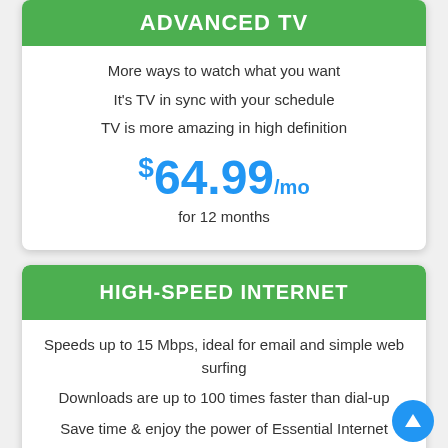ADVANCED TV
More ways to watch what you want
It's TV in sync with your schedule
TV is more amazing in high definition
$64.99/mo
for 12 months
HIGH-SPEED INTERNET
Speeds up to 15 Mbps, ideal for email and simple web surfing
Downloads are up to 100 times faster than dial-up
Save time & enjoy the power of Essential Internet